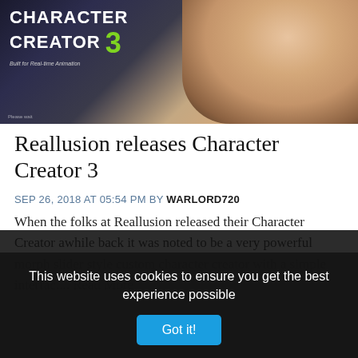[Figure (screenshot): Character Creator 3 promotional banner image showing a 3D rendered female character face/neck area with the text 'CHARACTER CREATOR 3' and 'Built for Real-time Animation' on a dark background with green accent number 3]
Reallusion releases Character Creator 3
SEP 26, 2018 AT 05:54 PM BY WARLORD720
When the folks at Reallusion released their Character Creator awhile back it was noted to be a very powerful morph slider style custom character creator with a simple interfac.... Read More
This website uses cookies to ensure you get the best experience possible